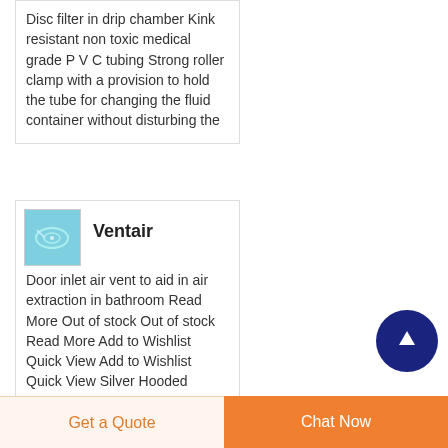Disc filter in drip chamber Kink resistant non toxic medical grade P V C tubing Strong roller clamp with a provision to hold the tube for changing the fluid container without disturbing the
[Figure (photo): Small product thumbnail image showing a ventilation vent/grille product against a light blue background]
Ventair
Door inlet air vent to aid in air extraction in bathroom Read More Out of stock Out of stock Read More Add to Wishlist Quick View Add to Wishlist Quick View Silver Hooded Exterior Grille Model V150SHEG 150mm
[Figure (other): Dark navy blue circular scroll-to-top button with upward arrow icon]
Get a Quote
Chat Now